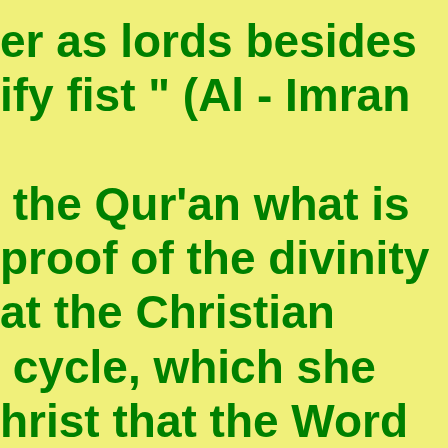er as lords besides
ify fist " (Al - Imran

 the Qur'an what is
proof of the divinity
at the Christian
 cycle, which she
hrist that the Word
Messenger of Allah
he angels of God
st Jesus the son of